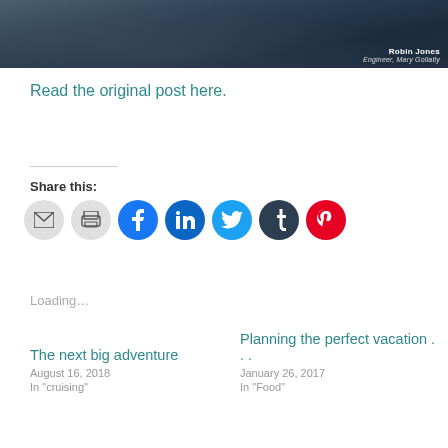[Figure (photo): Cropped photograph of a man in a dark blue jacket, partially visible. Text overlay in bottom-right corner reads 'Robin Jones / Engineer, Mary Gollatly']
Read the original post here.
Share this:
[Figure (infographic): Row of social sharing icon buttons: email (gray), print (gray), Facebook (blue), LinkedIn (dark blue), Twitter (light blue), Tumblr (dark slate), Pinterest (red)]
Loading...
The next big adventure
August 16, 2018
In "cruising"
Planning the perfect vacation . . .
January 26, 2017
In "Food"